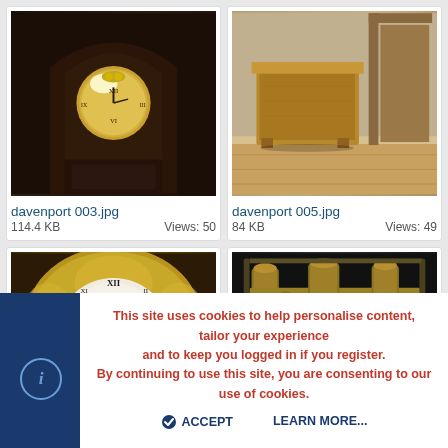[Figure (photo): Grandfather clock with ornate wooden case and brass dial face]
davenport 003.jpg
114.4 KB    Views: 50
[Figure (photo): Wooden furniture piece (davenport desk) viewed from back, on wooden floor]
davenport 005.jpg
84 KB    Views: 49
[Figure (photo): Close-up of ornate clock face with brass dial and Roman numerals]
[Figure (photo): Clock mechanism/movement showing brass gears and cylinders]
This site uses cookies to help personalise content, tailor your experience and to keep you logged in if you register. By continuing to use this site, you are consenting to our use of cookies.
ACCEPT    LEARN MORE...